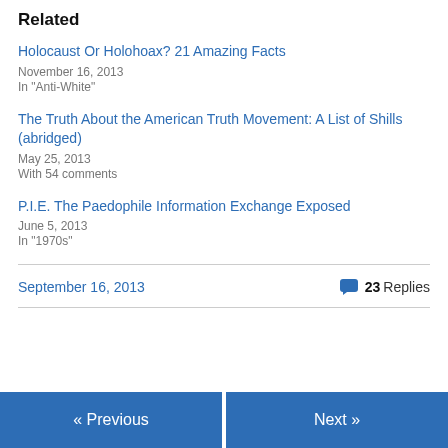Related
Holocaust Or Holohoax? 21 Amazing Facts
November 16, 2013
In "Anti-White"
The Truth About the American Truth Movement: A List of Shills (abridged)
May 25, 2013
With 54 comments
P.I.E. The Paedophile Information Exchange Exposed
June 5, 2013
In "1970s"
September 16, 2013    💬 23 Replies
« Previous    Next »